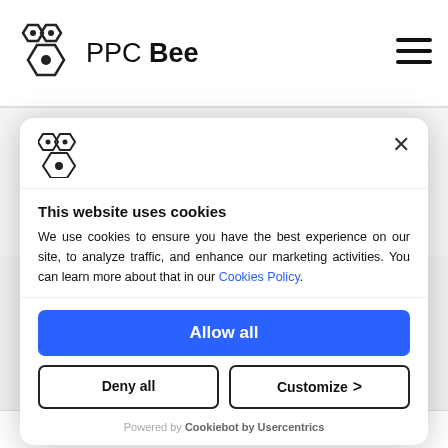PPC Bee
[Figure (logo): PPC Bee logo with honeycomb hexagon icon and text 'PPC Bee']
[Figure (logo): Acomware logo with orange diagonal stripes]
[Figure (logo): Skupina ČEZ logo with red box icon]
[Figure (screenshot): Cookie consent modal dialog with PPC Bee logo, close button, title 'This website uses cookies', description text, Cookies Policy link, Allow all button, Deny all button, Customize button, and Cookiebot by Usercentrics footer]
the need for a new campaign / report or editing of